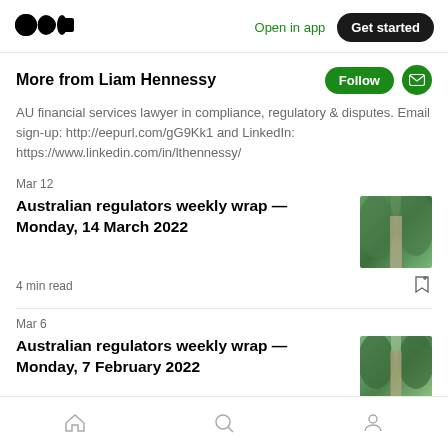Open in app | Get started
More from Liam Hennessy
AU financial services lawyer in compliance, regulatory & disputes. Email sign-up: http://eepurl.com/gG9Kk1 and LinkedIn: https://www.linkedin.com/in/lthennessy/
Mar 12
Australian regulators weekly wrap — Monday, 14 March 2022
[Figure (photo): Green hedge pathway photo thumbnail]
4 min read
Mar 6
Australian regulators weekly wrap — Monday, 7 February 2022
[Figure (photo): Green forest pathway photo thumbnail]
Home | Search | Profile